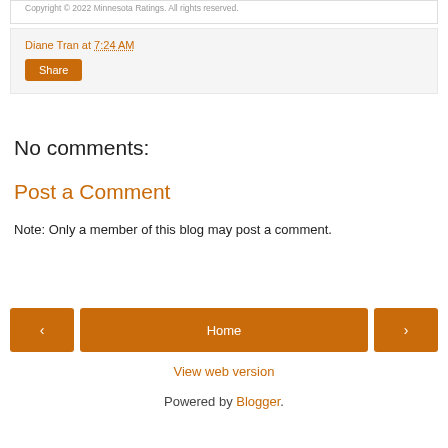Copyright © 2022 Minnesota Ratings. All rights reserved.
Diane Tran at 7:24 AM
Share
No comments:
Post a Comment
Note: Only a member of this blog may post a comment.
‹
Home
›
View web version
Powered by Blogger.